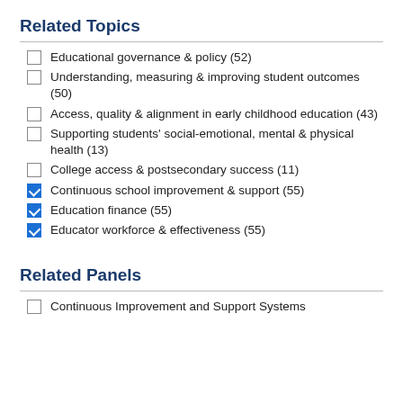Related Topics
Educational governance & policy (52)
Understanding, measuring & improving student outcomes (50)
Access, quality & alignment in early childhood education (43)
Supporting students' social-emotional, mental & physical health (13)
College access & postsecondary success (11)
Continuous school improvement & support (55)
Education finance (55)
Educator workforce & effectiveness (55)
Related Panels
Continuous Improvement and Support Systems